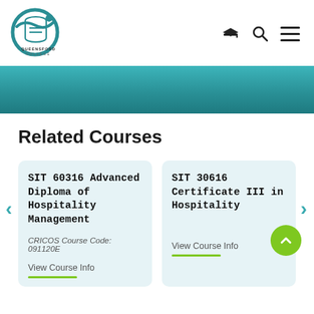[Figure (logo): Queensford College circular logo with teal wave design and text QUEENSFORD COLLEGE]
Related Courses
SIT 60316 Advanced Diploma of Hospitality Management
CRICOS Course Code:
091120E
View Course Info
SIT 30616 Certificate III in Hospitality
View Course Info